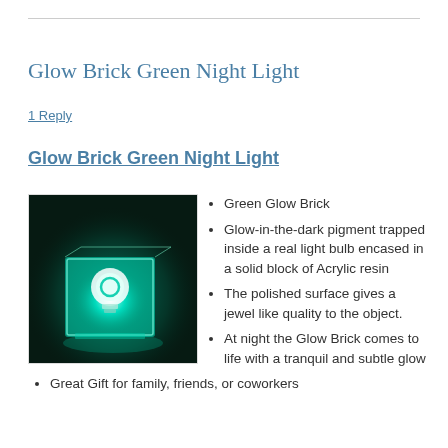Glow Brick Green Night Light
1 Reply
Glow Brick Green Night Light
[Figure (photo): A glowing teal/cyan acrylic block with a light bulb encased inside, photographed on a dark background with teal glow emanating from it.]
Green Glow Brick
Glow-in-the-dark pigment trapped inside a real light bulb encased in a solid block of Acrylic resin
The polished surface gives a jewel like quality to the object.
At night the Glow Brick comes to life with a tranquil and subtle glow
Great Gift for family, friends, or coworkers